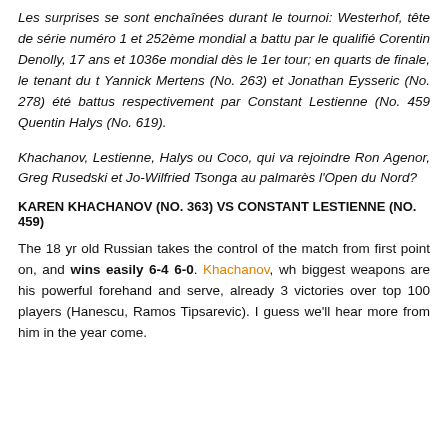Les surprises se sont enchaînées durant le tournoi: Westerhof, tête de série numéro 1 et 252ème mondial a battu par le qualifié Corentin Denolly, 17 ans et 1036e mondial dès le 1er tour; en quarts de finale, le tenant du t Yannick Mertens (No. 263) et Jonathan Eysseric (No. 278) été battus respectivement par Constant Lestienne (No. 459 Quentin Halys (No. 619).
Khachanov, Lestienne, Halys ou Coco, qui va rejoindre Ron Agenor, Greg Rusedski et Jo-Wilfried Tsonga au palmarès l'Open du Nord?
KAREN KHACHANOV (NO. 363) VS CONSTANT LESTIENNE (NO. 459)
The 18 yr old Russian takes the control of the match from first point on, and wins easily 6-4 6-0. Khachanov, wh biggest weapons are his powerful forehand and serve, already 3 victories over top 100 players (Hanescu, Ramos Tipsarevic). I guess we'll hear more from him in the year come.